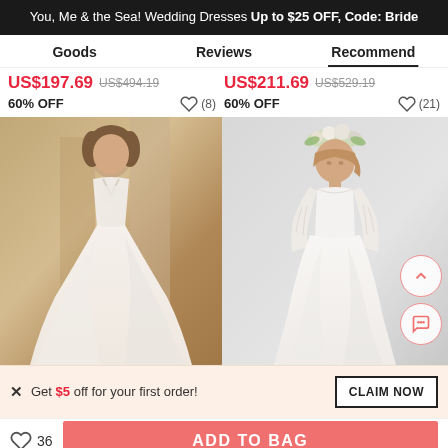You, Me & the Sea! Wedding Dresses Up to $25 OFF, Code: Bride
Goods | Reviews | Recommend
US$197.69  US$494.19  60% OFF  (8)  US$211.69  US$529.19  60% OFF  (21)
[Figure (photo): Two wedding dress product photos side by side. Left: model in a v-neck lace bodice tulle ball gown in a stone archway setting. Right: model with flower crown in a long-sleeve lace illusion top satin A-line gown against grey background.]
× Get $5 off for your first order!  CLAIM NOW
♡ 36  ADD TO BAG